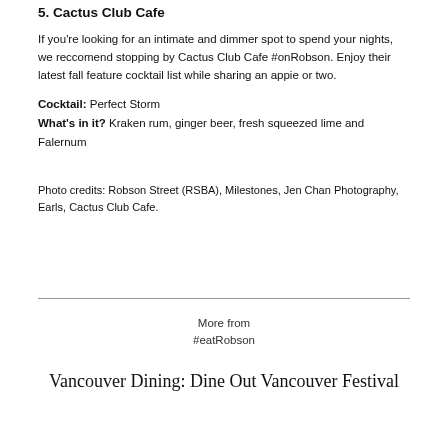5. Cactus Club Cafe
If you're looking for an intimate and dimmer spot to spend your nights, we reccomend stopping by Cactus Club Cafe #onRobson. Enjoy their latest fall feature cocktail list while sharing an appie or two.
Cocktail: Perfect Storm
What's in it? Kraken rum, ginger beer, fresh squeezed lime and Falernum
Photo credits: Robson Street (RSBA), Milestones, Jen Chan Photography, Earls, Cactus Club Cafe.
More from
#eatRobson
Vancouver Dining: Dine Out Vancouver Festival